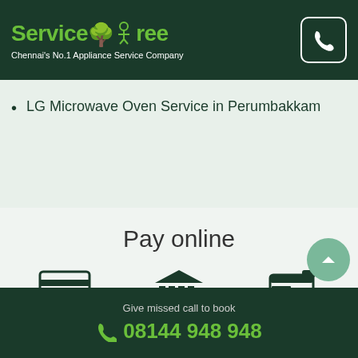ServiceTree – Chennai's No.1 Appliance Service Company
LG Microwave Oven Service in Perumbakkam
Pay online
[Figure (infographic): Three payment method icons: Credit/Debit card, Netbanking, Wallets]
Give missed call to book 08144 948 948